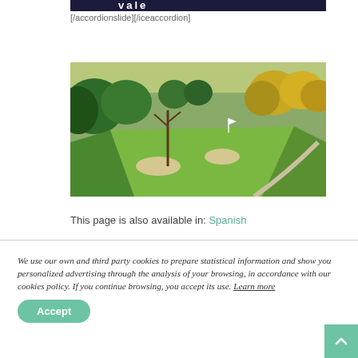[Figure (screenshot): Dark navy banner image, partially visible at top of page]
[/accordionslide][/iceaccordion]
[Figure (photo): Aerial photograph of a golf course with lush green fairways, sand bunkers, and trees with yellow foliage]
This page is also available in: Spanish
We use our own and third party cookies to prepare statistical information and show you personalized advertising through the analysis of your browsing, in accordance with our cookies policy. If you continue browsing, you accept its use. Learn more